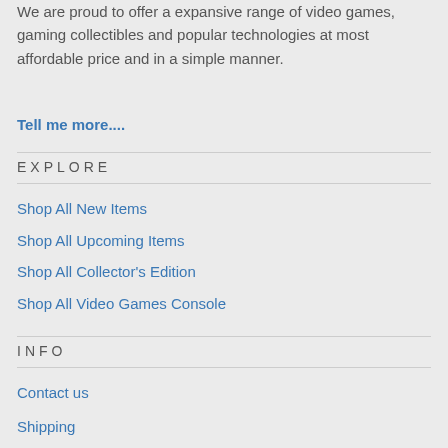We are proud to offer a expansive range of video games, gaming collectibles and popular technologies at most affordable price and in a simple manner.
Tell me more....
EXPLORE
Shop All New Items
Shop All Upcoming Items
Shop All Collector's Edition
Shop All Video Games Console
INFO
Contact us
Shipping